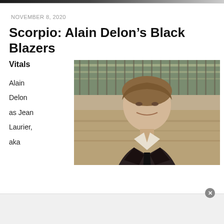NOVEMBER 8, 2020
Scorpio: Alain Delon’s Black Blazers
Vitals
Alain Delon as Jean Laurier, aka
[Figure (photo): Black and white/color tinted photo of Alain Delon as Jean Laurier, wearing a dark blazer and tie, standing in front of a metal fence outdoors. An infolinks advertisement banner overlays the bottom of the image with a close button.]
infolinks